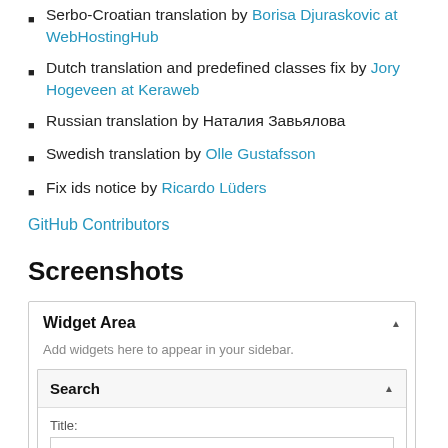Serbo-Croatian translation by Borisa Djuraskovic at WebHostingHub
Dutch translation and predefined classes fix by Jory Hogeveen at Keraweb
Russian translation by Наталия Завьялова
Swedish translation by Olle Gustafsson
Fix ids notice by Ricardo Lüders
GitHub Contributors
Screenshots
[Figure (screenshot): WordPress widget area admin UI showing 'Widget Area' with 'Add widgets here to appear in your sidebar.' and a 'Search' widget with a Title input field.]